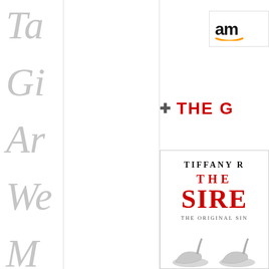[Figure (illustration): Left sidebar with large faded italic letters spelling partial words vertically: Ta, Gi, Ar, We, M]
[Figure (logo): Amazon logo partially visible in top right corner]
+ THE G
[Figure (illustration): Book cover for 'The Siren' by Tiffany R, showing title in red large serif font with subtitle 'THE ORIGINAL SIN...' and silver high heel shoes at bottom]